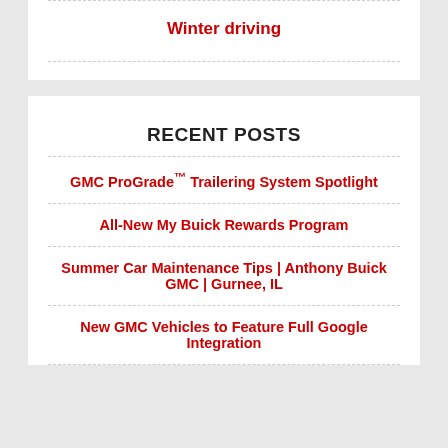Winter driving
RECENT POSTS
GMC ProGrade™ Trailering System Spotlight
All-New My Buick Rewards Program
Summer Car Maintenance Tips | Anthony Buick GMC | Gurnee, IL
New GMC Vehicles to Feature Full Google Integration